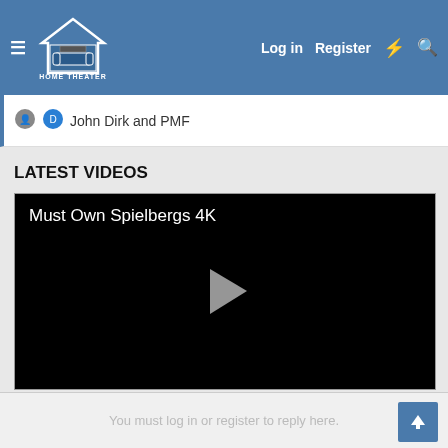HOME THEATER FORUM — Log in | Register
John Dirk and PMF
LATEST VIDEOS
[Figure (screenshot): Video player showing 'Must Own Spielbergs 4K' with a play button on a black background]
You must log in or register to reply here.